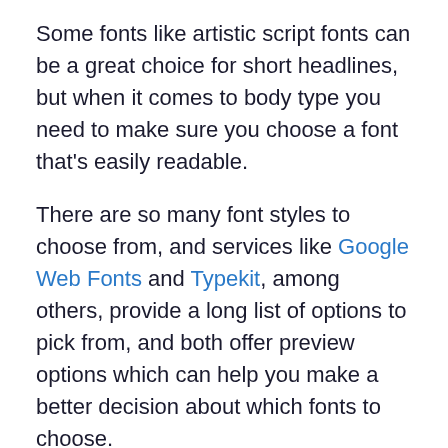Some fonts like artistic script fonts can be a great choice for short headlines, but when it comes to body type you need to make sure you choose a font that's easily readable.
There are so many font styles to choose from, and services like Google Web Fonts and Typekit, among others, provide a long list of options to pick from, and both offer preview options which can help you make a better decision about which fonts to choose.
In addition, the @font-face rule in CSS allows you to use custom fonts in your page, and with pretty good browser support, you